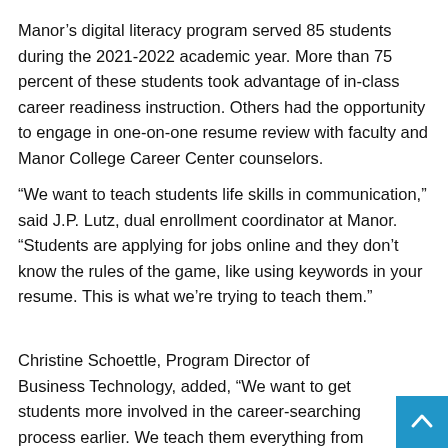Manor's digital literacy program served 85 students during the 2021-2022 academic year. More than 75 percent of these students took advantage of in-class career readiness instruction. Others had the opportunity to engage in one-on-one resume review with faculty and Manor College Career Center counselors.
“We want to teach students life skills in communication,” said J.P. Lutz, dual enrollment coordinator at Manor. “Students are applying for jobs online and they don’t know the rules of the game, like using keywords in your resume. This is what we’re trying to teach them.”
Christine Schoettle, Program Director of Business Technology, added, “We want to get students more involved in the career-searching process earlier. We teach them everything from to write a resume, a cover letter and apply for a job in our